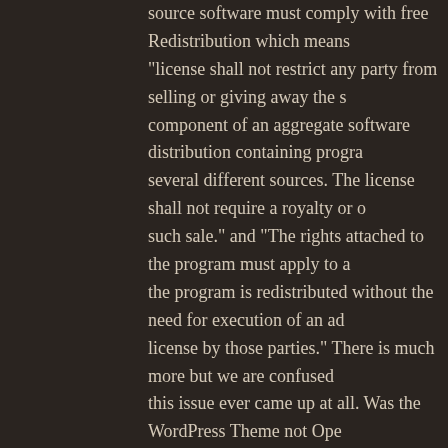source software must comply with free Redistribution which means "license shall not restrict any party from selling or giving away the s component of an aggregate software distribution containing progra several different sources. The license shall not require a royalty or such sale." and "The rights attached to the program must apply to a the program is redistributed without the need for execution of an ad license by those parties." There is much more but we are confused this issue ever came up at all. Was the WordPress Theme not Ope and we are missing something?
Reply
Alan Lord says: February 1, 2009 at 9:45
Hi there.
Well, the issue wasn't about them using the theme. It was that t taken it, modified it and not provided any attribution for it. The tw important lines from this post are:
The simple fact is this: the Number 10 website which Ne Media Maze claim to have designed is based on original